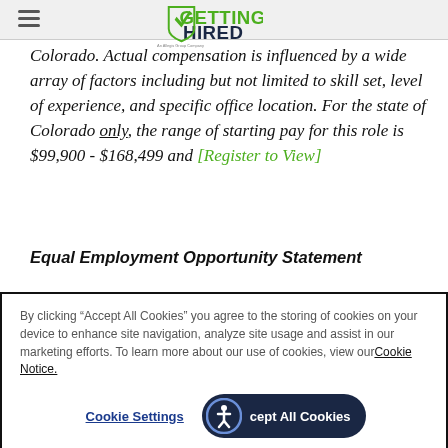Getting Hired - An Allegis Group Company (logo)
Colorado. Actual compensation is influenced by a wide array of factors including but not limited to skill set, level of experience, and specific office location. For the state of Colorado only, the range of starting pay for this role is $99,900 - $168,499 and [Register to View]
Equal Employment Opportunity Statement
By clicking “Accept All Cookies” you agree to the storing of cookies on your device to enhance site navigation, analyze site usage and assist in our marketing efforts. To learn more about our use of cookies, view our Cookie Notice.